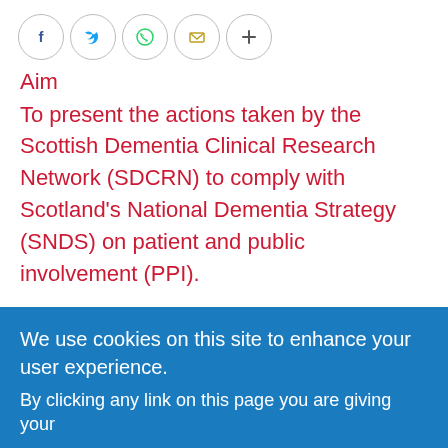[Figure (other): Row of social sharing icons: Facebook, Twitter, WhatsApp, Email, and a plus button, each in a circle]
Aim
To present the actions taken by the Scottish Dementia Clinical Research Network (SDCRN) to comply with Scotland's National Dementia Strategy (SNDS) on patient and public involvement (PPI).
Background
Tackling priorities in dementia research is paramount to success in planning and delivering effective health services. Identifying such priorities is a task that should involve patients with dementia and their carers. Aware of the potential importance
We use cookies on this site to enhance your user experience.
By clicking any link on this page you are giving your